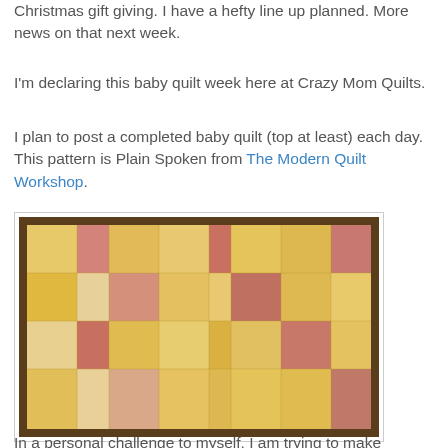Christmas gift giving. I have a hefty line up planned. More news on that next week.
I'm declaring this baby quilt week here at Crazy Mom Quilts.
I plan to post a completed baby quilt (top at least) each day. This pattern is Plain Spoken from The Modern Quilt Workshop.
[Figure (photo): A baby quilt with a patchwork pattern of yellow, pink/coral, and cream rectangular fabric blocks arranged in a grid, photographed on a wooden surface.]
In a personal challenge to myself, I am trying to make